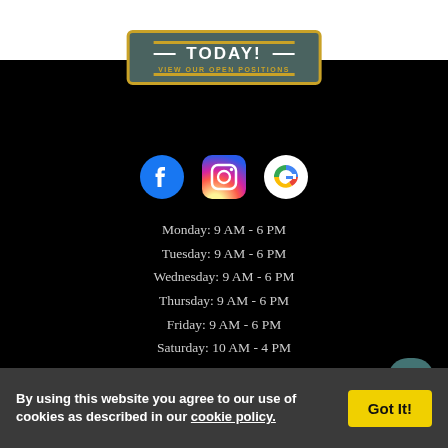[Figure (other): Badge/button with dark teal background, gold border, reading 'TODAY!' with 'VIEW OUR OPEN POSITIONS' subtitle]
[Figure (other): Three social media icons: Facebook (blue circle with F), Instagram (gradient camera icon), Google (colorful G)]
Monday: 9 AM - 6 PM
Tuesday: 9 AM - 6 PM
Wednesday: 9 AM - 6 PM
Thursday: 9 AM - 6 PM
Friday: 9 AM - 6 PM
Saturday: 10 AM - 4 PM
By using this website you agree to our use of cookies as described in our cookie policy.